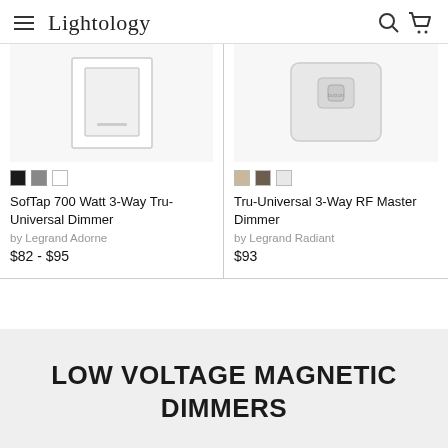Lightology
[Figure (photo): SofTap 700 Watt 3-Way Tru-Universal Dimmer product image, white rectangular device]
SofTap 700 Watt 3-Way Tru-Universal Dimmer
by Legrand Adorne
$82 - $95
[Figure (photo): Tru-Universal 3-Way RF Master Dimmer product image, light gray rectangular device]
Tru-Universal 3-Way RF Master Dimmer
by Legrand Radiant
$93
LOW VOLTAGE MAGNETIC DIMMERS